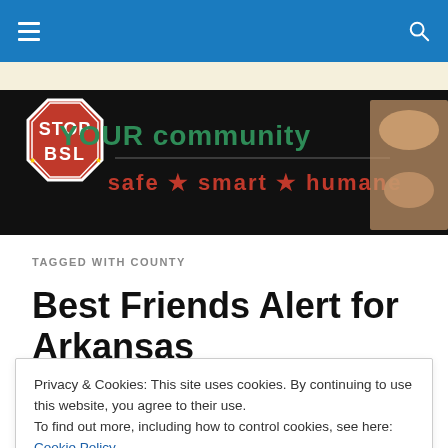Navigation bar with hamburger menu and search icon
[Figure (logo): Stop BSL banner logo: red octagonal STOP BSL sign on left, dark background with teal text 'YOUR community' and red text 'safe * smart * humane', human and dog paw handshake on right]
TAGGED WITH COUNTY
Best Friends Alert for Arkansas
Privacy & Cookies: This site uses cookies. By continuing to use this website, you agree to their use.
To find out more, including how to control cookies, see here: Cookie Policy
Close and accept